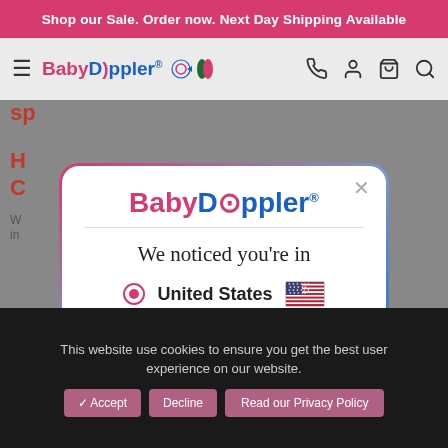Shop our Sale. Order now. Next Day Shipping Available
[Figure (screenshot): BabyDoppler website navigation bar with hamburger menu, logo, phone, account, cart, and search icons]
[Figure (screenshot): Modal dialog: BabyDoppler logo with 'We noticed you're in' message, United States option selected with US flag, 'Shop in United States' pink button, and 'Stay on Ireland Store' link]
This website use cookies to ensure you get the best user experience on our website.
✓ Accept
Decline
Read our Privacy Policy